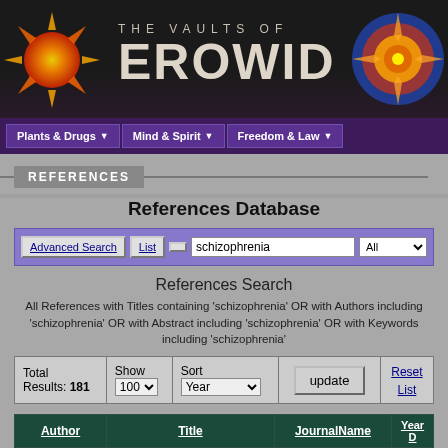[Figure (screenshot): The Vaults of Erowid website header banner with sun logo on left, mandala on right, and large EROWID text]
THE VAULTS OF EROWID
Plants & Drugs ▼  Mind & Spirit ▼  Freedom & Law ▼
REFERENCES
References Database
Advanced Search  List  schizophrenia  All
References Search
All References with Titles containing 'schizophrenia' OR with Authors including 'schizophrenia' OR with Abstract including 'schizophrenia' OR with Keywords including 'schizophrenia'
| Total Results: 181 | Show 100 | Sort Year | update | Reset List |
| --- | --- | --- | --- | --- |
| Author | Title | JournalName | Year D |
| --- | --- | --- | --- |
| Click on Column Headers to Re-Sort The Current List |